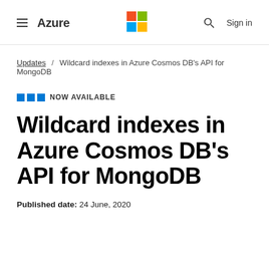≡ Azure   [Microsoft Logo]   🔍  Sign in
Updates / Wildcard indexes in Azure Cosmos DB's API for MongoDB
NOW AVAILABLE
Wildcard indexes in Azure Cosmos DB's API for MongoDB
Published date: 24 June, 2020